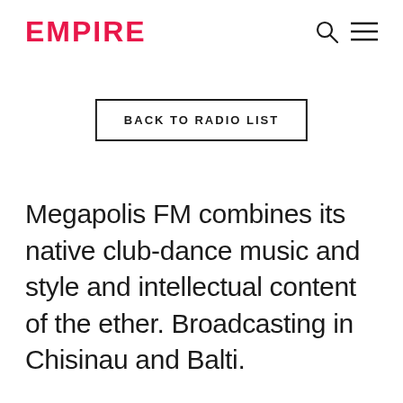EMPIRE
BACK TO RADIO LIST
Megapolis FM combines its native club-dance music and style and intellectual content of the ether. Broadcasting in Chisinau and Balti.